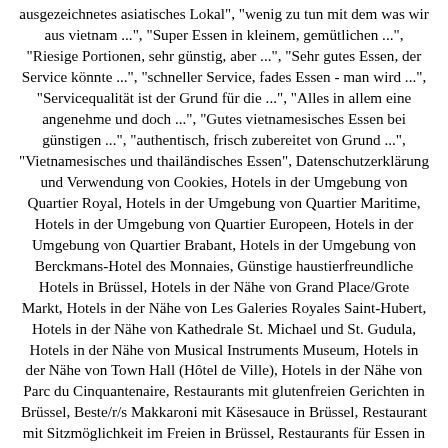ausgezeichnetes asiatisches Lokal", "wenig zu tun mit dem was wir aus vietnam ...", "Super Essen in kleinem, gemütlichen ...", "Riesige Portionen, sehr günstig, aber ...", "Sehr gutes Essen, der Service könnte ...", "schneller Service, fades Essen - man wird ...", "Servicequalität ist der Grund für die ...", "Alles in allem eine angenehme und doch ...", "Gutes vietnamesisches Essen bei günstigen ...", "authentisch, frisch zubereitet von Grund ...", "Vietnamesisches und thailändisches Essen", Datenschutzerklärung und Verwendung von Cookies, Hotels in der Umgebung von Quartier Royal, Hotels in der Umgebung von Quartier Maritime, Hotels in der Umgebung von Quartier Europeen, Hotels in der Umgebung von Quartier Brabant, Hotels in der Umgebung von Berckmans-Hotel des Monnaies, Günstige haustierfreundliche Hotels in Brüssel, Hotels in der Nähe von Grand Place/Grote Markt, Hotels in der Nähe von Les Galeries Royales Saint-Hubert, Hotels in der Nähe von Kathedrale St. Michael und St. Gudula, Hotels in der Nähe von Musical Instruments Museum, Hotels in der Nähe von Town Hall (Hôtel de Ville), Hotels in der Nähe von Parc du Cinquantenaire, Restaurants mit glutenfreien Gerichten in Brüssel, Beste/r/s Makkaroni mit Käsesauce in Brüssel, Restaurant mit Sitzmöglichkeit im Freien in Brüssel, Restaurants für Essen in Gruppen in Brüssel, Restaurants in der Nähe von Made In Louise, Restaurants in der Nähe von Mas Aparthotel EU, Restaurants in der Nähe von Pillows Grand Hotel Place Rouppe, Restaurants in der Nähe von NH Collection